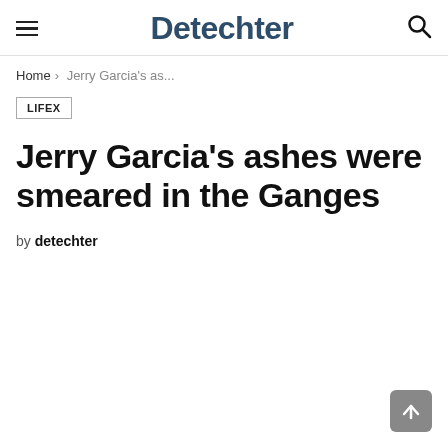Detechter
Home › Jerry Garcia's as...
LIFEX
Jerry Garcia's ashes were smeared in the Ganges
by detechter